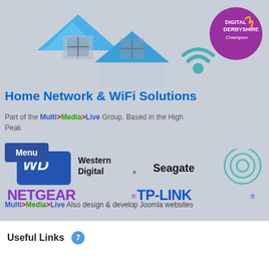[Figure (illustration): House illustration with blue roof and WiFi signal icon, plus Digital Derbyshire Champion purple circle badge in top right]
Home Network & WiFi Solutions
Part of the Multi>Media>Live Group. Based in the High Peak
[Figure (logo): WD Western Digital logo (blue/white), Seagate logo (teal), NETGEAR logo (purple), TP-LINK logo (blue)]
Multi>Media>Live Also design & develop Joomla websites
Useful Links 7